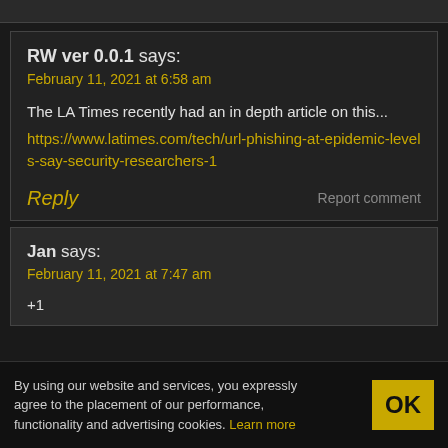RW ver 0.0.1 says:
February 11, 2021 at 6:58 am
The LA Times recently had an in depth article on this...
https://www.latimes.com/tech/url-phishing-at-epidemic-levels-say-security-researchers-1
Reply
Report comment
Jan says:
February 11, 2021 at 7:47 am
+1
By using our website and services, you expressly agree to the placement of our performance, functionality and advertising cookies. Learn more